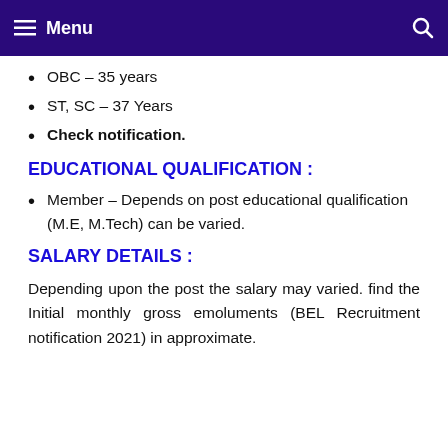Menu
OBC – 35 years
ST, SC – 37 Years
Check notification.
EDUCATIONAL QUALIFICATION :
Member – Depends on post educational qualification (M.E, M.Tech) can be varied.
SALARY DETAILS :
Depending upon the post the salary may varied. find the Initial monthly gross emoluments (BEL Recruitment notification 2021) in approximate.